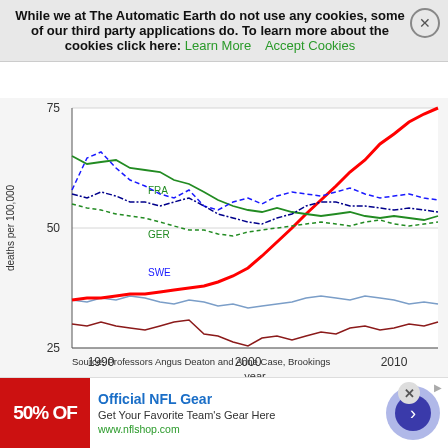While we at The Automatic Earth do not use any cookies, some of our third party applications do. To learn more about the cookies click here: Learn More   Accept Cookies
[Figure (line-chart): Line chart showing mortality rates per 100,000 from 1988 to 2013 for multiple countries: USW (red, rising sharply to ~75), FRA (green, declining), GER (green dashed), SWE (blue dashed), UK (dark blue dashed), CAN (light blue), AUS (dark red). Source: Professors Angus Deaton and Anne Case, Brookings]
Source: Professors Angus Deaton and Anne Case, Brookings
I mean we are very attracted by that. You know, the ultimate
Official NFL Gear
Get Your Favorite Team's Gear Here
www.nflshop.com